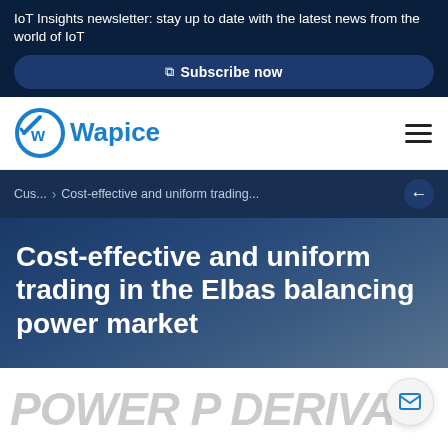IoT Insights newsletter: stay up to date with the latest news from the world of IoT
Subscribe now
[Figure (logo): Wapice company logo with circular W icon and blue Wapice wordmark]
Cus... > Cost-effective and uniform trading...
Cost-effective and uniform trading in the Elbas balancing power market
[Figure (illustration): Partial text reading 'POWER P DERIVA' in large bold letters at the bottom of the page]